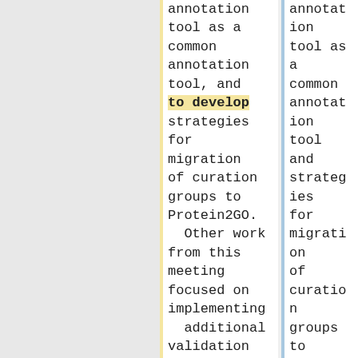annotation tool as a common annotation tool, and to develop strategies for migration of curation groups to Protein2GO.  Other work from this meeting focused on implementing additional validation checks in the Protein2GO
annotation tool as a common annotation tool and strategies for migration of curation groups to Protein2GO.  Other work from this meeting focused on implementing additional validation checks in the Protein2GO tool and